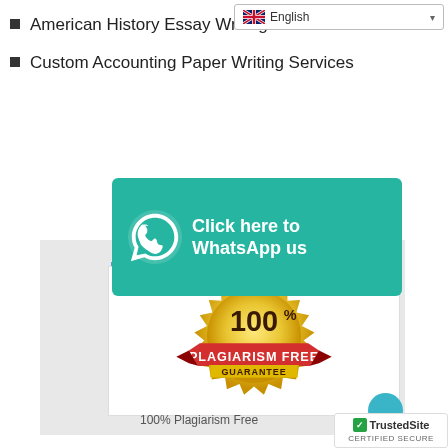[Figure (screenshot): English language selector dropdown in top right corner]
American History Essay Writing Services
Custom Accounting Paper Writing Services
[Figure (infographic): WhatsApp banner: Click here to WhatsApp us, teal background with WhatsApp phone icon]
PL
[Figure (illustration): 100% Plagiarism Free Guarantee badge - gold seal with red ribbon banner]
100% Plagiarism Free
[Figure (logo): TrustedSite Certified Secure badge in bottom right corner]